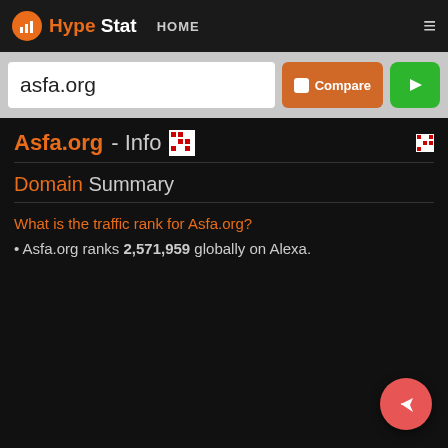HypeStat HOME ≡
asfa.org
Asfa.org - Info
Domain Summary
What is the traffic rank for Asfa.org?
Asfa.org ranks 2,571,959 globally on Alexa.